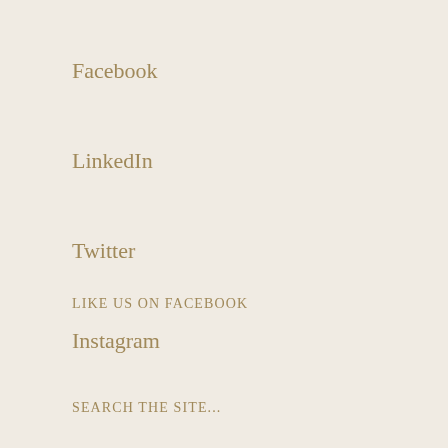Facebook
LinkedIn
Twitter
Instagram
LIKE US ON FACEBOOK
SEARCH THE SITE...